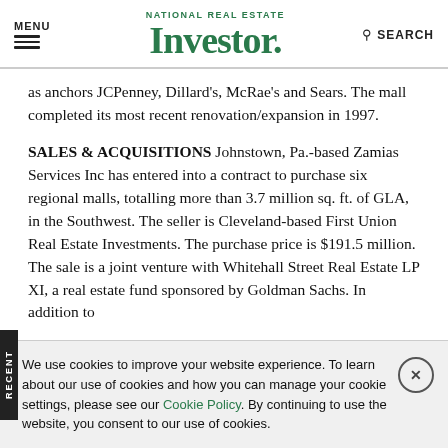MENU | NATIONAL REAL ESTATE Investor. | SEARCH
as anchors JCPenney, Dillard's, McRae's and Sears. The mall completed its most recent renovation/expansion in 1997.
SALES & ACQUISITIONS Johnstown, Pa.-based Zamias Services Inc has entered into a contract to purchase six regional malls, totalling more than 3.7 million sq. ft. of GLA, in the Southwest. The seller is Cleveland-based First Union Real Estate Investments. The purchase price is $191.5 million. The sale is a joint venture with Whitehall Street Real Estate LP XI, a real estate fund sponsored by Goldman Sachs. In addition to
We use cookies to improve your website experience. To learn about our use of cookies and how you can manage your cookie settings, please see our Cookie Policy. By continuing to use the website, you consent to our use of cookies.